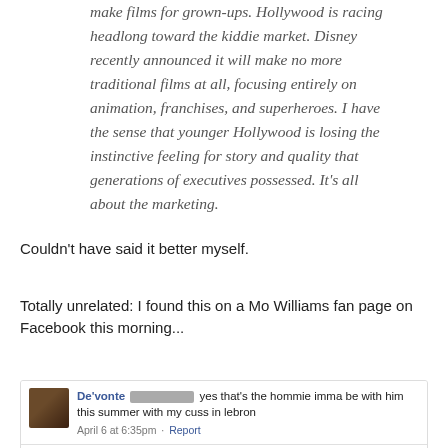make films for grown-ups. Hollywood is racing headlong toward the kiddie market. Disney recently announced it will make no more traditional films at all, focusing entirely on animation, franchises, and superheroes. I have the sense that younger Hollywood is losing the instinctive feeling for story and quality that generations of executives possessed. It's all about the marketing.
Couldn't have said it better myself.
Totally unrelated: I found this on a Mo Williams fan page on Facebook this morning...
[Figure (screenshot): Facebook comment thread screenshot. De'vonte [redacted]: yes that's the hommie imma be with him this summer with my cuss in lebron. April 6 at 6:35pm · Report. Darlene [redacted] [redacted]: STFP...you dont even knoe that nigga. April 6 at 9:30pm · Report.]